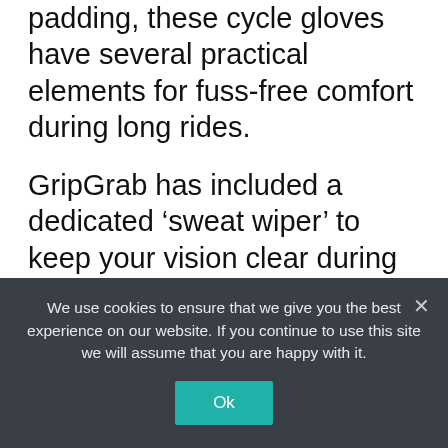padding, these cycle gloves have several practical elements for fuss-free comfort during long rides.
GripGrab has included a dedicated ‘sweat wiper’ to keep your vision clear during grueling sessions, while the magnetic detailing is another useful addition, as it’ll keep your gloves together when you’re not using them to avoid you losing one.
There are multiple colors and sizes available, allowing you to get the perfect fit and style,
We use cookies to ensure that we give you the best experience on our website. If you continue to use this site we will assume that you are happy with it.